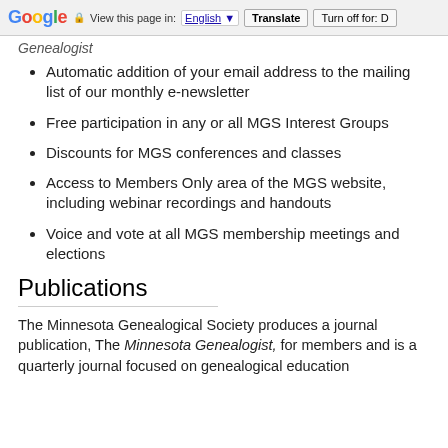Google | View this page in: English | Translate | Turn off for: D
Genealogist
Automatic addition of your email address to the mailing list of our monthly e-newsletter
Free participation in any or all MGS Interest Groups
Discounts for MGS conferences and classes
Access to Members Only area of the MGS website, including webinar recordings and handouts
Voice and vote at all MGS membership meetings and elections
Publications
The Minnesota Genealogical Society produces a journal publication, The Minnesota Genealogist, for members and is a quarterly journal focused on genealogical education